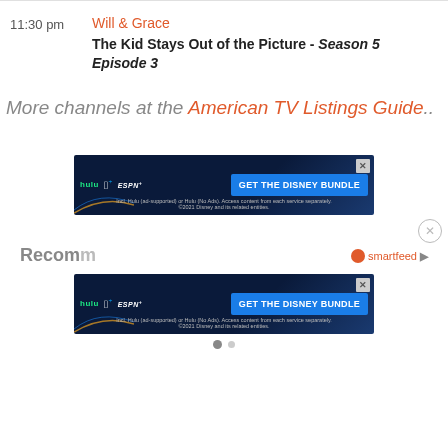11:30 pm
Will & Grace
The Kid Stays Out of the Picture - Season 5 Episode 3
More channels at the American TV Listings Guide..
[Figure (screenshot): Disney Bundle advertisement banner showing Hulu, Disney+, ESPN+ logos with GET THE DISNEY BUNDLE CTA button]
[Figure (screenshot): Second Disney Bundle advertisement banner overlapping Recommended section]
Recommended for you
smartfeed